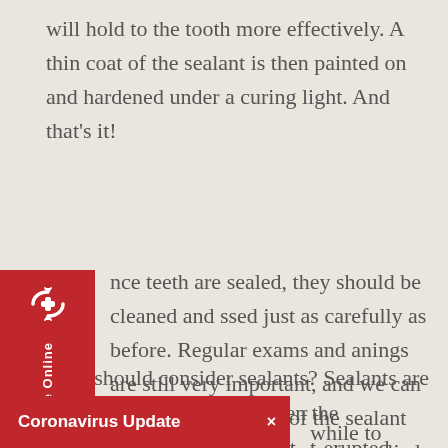will hold to the tooth more effectively. A thin coat of the sealant is then painted on and hardened under a curing light. And that’s it!
nce teeth are sealed, they should be cleaned and ssed just as carefully as before. Regular exams and anings are still very important, and we can monitor e condition of the sealant and the sealed teeth. pperly applied, sealants can last from three to five ars, or even longer.
Who should consider sealants? Sealants are typically recommended when the permanent molars first erupt. Childr... while to become its t-erupted teeth are more at
Coronavirus Update